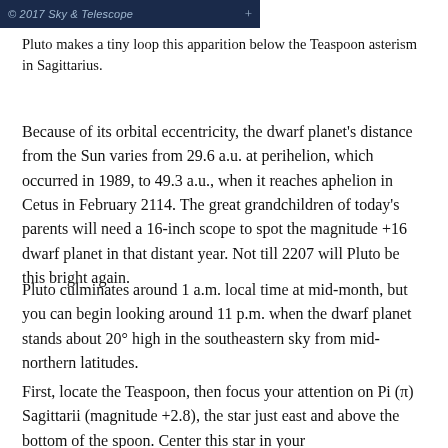[Figure (screenshot): Dark blue/navy header bar with italic text '© 2017 Sky & Telescope' and a plus icon on the right]
Pluto makes a tiny loop this apparition below the Teaspoon asterism in Sagittarius.
Because of its orbital eccentricity, the dwarf planet's distance from the Sun varies from 29.6 a.u. at perihelion, which occurred in 1989, to 49.3 a.u., when it reaches aphelion in Cetus in February 2114. The great grandchildren of today's parents will need a 16-inch scope to spot the magnitude +16 dwarf planet in that distant year. Not till 2207 will Pluto be this bright again.
Pluto culminates around 1 a.m. local time at mid-month, but you can begin looking around 11 p.m. when the dwarf planet stands about 20° high in the southeastern sky from mid-northern latitudes.
First, locate the Teaspoon, then focus your attention on Pi (π) Sagittarii (magnitude +2.8), the star just east and above the bottom of the spoon. Center this star in your